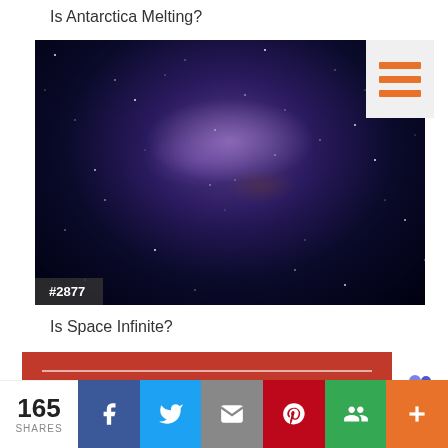Is Antarctica Melting?
[Figure (photo): Night sky with Milky Way galaxy — deep blue and purple nebula with stars. Badge showing #2877 in bottom left corner.]
Is Space Infinite?
[Figure (illustration): Red banner with white horizontal line and large white bold text reading BECOME A SUPPORTER (partially visible)]
165 SHARES
Facebook share button, Twitter share button, Email share button, Pinterest share button, Google+ share button, More share button